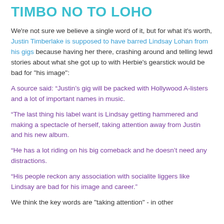TIMBO NO TO LOHO
We're not sure we believe a single word of it, but for what it's worth, Justin Timberlake is supposed to have barred Lindsay Lohan from his gigs because having her there, crashing around and telling lewd stories about what she got up to with Herbie's gearstick would be bad for "his image":
A source said: “Justin’s gig will be packed with Hollywood A-listers and a lot of important names in music.
“The last thing his label want is Lindsay getting hammered and making a spectacle of herself, taking attention away from Justin and his new album.
“He has a lot riding on his big comeback and he doesn’t need any distractions.
“His people reckon any association with socialite liggers like Lindsay are bad for his image and career.”
We think the key words are "taking attention" - in other